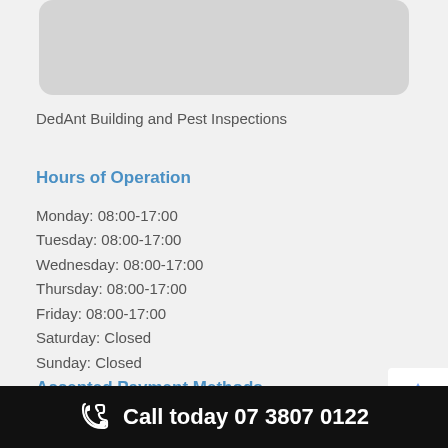[Figure (photo): Gray rounded rectangle image placeholder at top of page]
DedAnt Building and Pest Inspections
Hours of Operation
Monday: 08:00-17:00
Tuesday: 08:00-17:00
Wednesday: 08:00-17:00
Thursday: 08:00-17:00
Friday: 08:00-17:00
Saturday: Closed
Sunday: Closed
Accepted Payment Methods
Call today 07 3807 0122